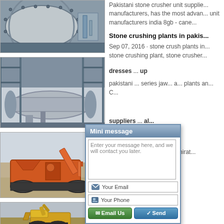[Figure (photo): Industrial ball mill machine in a factory setting, large cylindrical grey vessel with bolted panels]
[Figure (photo): Large rotary kiln or cylinder machine in industrial plant with blue steel frame structure]
[Figure (photo): Orange mobile jaw crusher or screening plant on tracks outdoors]
[Figure (photo): Yellow construction machinery/excavator at a stone crushing site]
Pakistani stone crusher unit suppliers and manufacturers, has the most advanced stone crusher unit manufacturers india 8gb - cane...
Stone crushing plants in pakis...
Sep 07, 2016 · stone crush plants in... stone crushing plant, stone crusher...
dresses ... up
pakistani ... series jaw... a... plants an... C...
suppliers ... al...
stone crusher supplier in chirat...
[Figure (screenshot): Mini message popup overlay with textarea saying 'Enter your message here, and we will contact you later.', Your Email field, Your Phone field, Email Us and Send buttons]